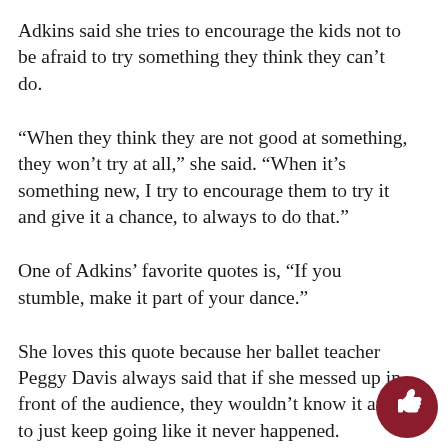Adkins said she tries to encourage the kids not to be afraid to try something they think they can't do.
“When they think they are not good at something, they won’t try at all,” she said. “When it’s something new, I try to encourage them to try it and give it a chance, to always to do that.”
One of Adkins’ favorite quotes is, “If you stumble, make it part of your dance.”
She loves this quote because her ballet teacher Peggy Davis always said that if she messed up in front of the audience, they wouldn’t know it and to just keep going like it never happened.
[Figure (illustration): Dark red circular thumbs-up icon in the bottom-right corner]